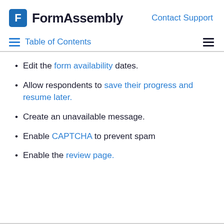FormAssembly | Contact Support
Table of Contents
Edit the form availability dates.
Allow respondents to save their progress and resume later.
Create an unavailable message.
Enable CAPTCHA to prevent spam
Enable the review page.